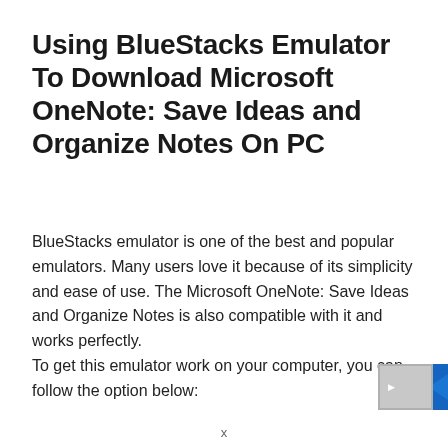Using BlueStacks Emulator To Download Microsoft OneNote: Save Ideas and Organize Notes On PC
BlueStacks emulator is one of the best and popular emulators. Many users love it because of its simplicity and ease of use. The Microsoft OneNote: Save Ideas and Organize Notes is also compatible with it and works perfectly.
To get this emulator work on your computer, you can follow the option below:
[Figure (photo): Partial image visible in bottom-right corner, appears to show a blue graphic or screenshot, partially cropped]